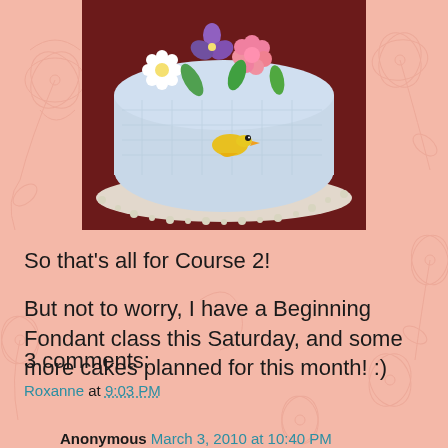[Figure (photo): A decorated cake with colorful flowers and a yellow bird, placed on a white doily against a dark red background]
So that's all for Course 2!
But not to worry, I have a Beginning Fondant class this Saturday, and some more cakes planned for this month! :)
Roxanne at 9:03 PM
Share
3 comments:
Anonymous March 3, 2010 at 10:40 PM